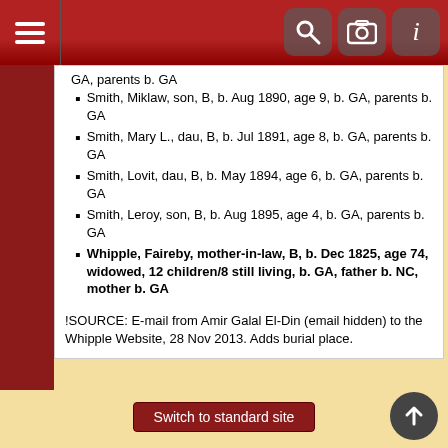Navigation header with hamburger menu and icons
GA, parents b. GA
Smith, Miklaw, son, B, b. Aug 1890, age 9, b. GA, parents b. GA
Smith, Mary L., dau, B, b. Jul 1891, age 8, b. GA, parents b. GA
Smith, Lovit, dau, B, b. May 1894, age 6, b. GA, parents b. GA
Smith, Leroy, son, B, b. Aug 1895, age 4, b. GA, parents b. GA
Whipple, Faireby, mother-in-law, B, b. Dec 1825, age 74, widowed, 12 children/8 still living, b. GA, father b. NC, mother b. GA
!SOURCE: E-mail from Amir Galal El-Din (email hidden) to the Whipple Website, 28 Nov 2013. Adds burial place.
Switch to standard site
This site powered by The Next Generation of Genealogy Sitebuilding v. 13.1.2, by Darrin Lythgoe © 2001-2022. Maintained by Weldon Whipple.